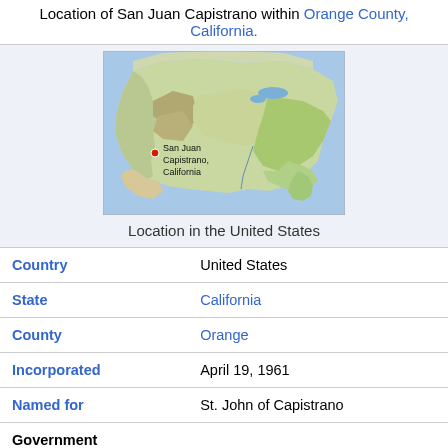Location of San Juan Capistrano within Orange County, California.
[Figure (map): Map of the United States showing the location of San Juan Capistrano, California marked with a red dot.]
Location in the United States
| Country | United States |
| State | California |
| County | Orange |
| Incorporated | April 19, 1961 |
| Named for | St. John of Capistrano |
| Government |  |
| • Type | Council-Manager |